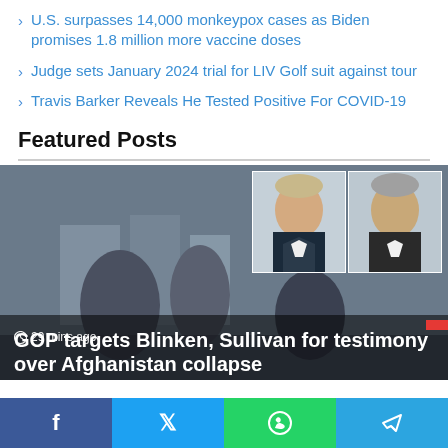U.S. surpasses 14,000 monkeypox cases as Biden promises 1.8 million more vaccine doses
Judge sets January 2024 trial for LIV Golf suit against tour
Travis Barker Reveals He Tested Positive For COVID-19
Featured Posts
[Figure (photo): Featured news image showing armed men with weapons, with an inset showing two men in suits (Blinken and Sullivan). Timestamp: 29 mins ago. Headline: GOP targets Blinken, Sullivan for testimony over Afghanistan collapse]
Social share bar: Facebook, Twitter, WhatsApp, Telegram